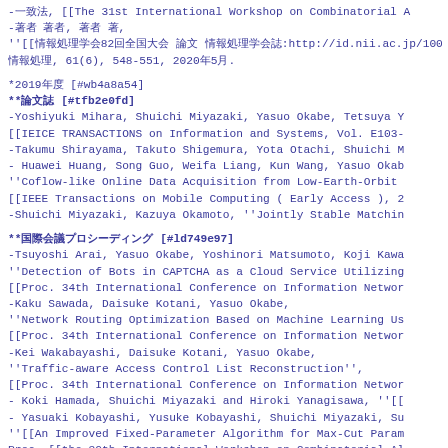-一致法, [[The 31st International Workshop on Combinatorial A
-著者 著者, 著者 著,
''[[情報処理学会82回全国大会 論文 情報処理学会誌:http://id.nii.ac.jp/1001/0
情報処理, 61(6), 548-551, 2020年5月.
*2019年度 [#wb4a8a54]
**論文誌 [#tfb2e0fd]
-Yoshiyuki Mihara, Shuichi Miyazaki, Yasuo Okabe, Tetsuya Y
[[IEICE TRANSACTIONS on Information and Systems, Vol. E103-
-Takumu Shirayama, Takuto Shigemura, Yota Otachi, Shuichi M
- Huawei Huang, Song Guo, Weifa Liang, Kun Wang, Yasuo Okab
''Coflow-like Online Data Acquisition from Low-Earth-Orbit
[[IEEE Transactions on Mobile Computing ( Early Access ), 2
-Shuichi Miyazaki, Kazuya Okamoto, ''Jointly Stable Matchin
**国際会議プロシーディング [#ld749e97]
-Tsuyoshi Arai, Yasuo Okabe, Yoshinori Matsumoto, Koji Kawa
''Detection of Bots in CAPTCHA as a Cloud Service Utilizing
[[Proc. 34th International Conference on Information Networ
-Kaku Sawada, Daisuke Kotani, Yasuo Okabe,
''Network Routing Optimization Based on Machine Learning Us
[[Proc. 34th International Conference on Information Networ
-Kei Wakabayashi, Daisuke Kotani, Yasuo Okabe,
''Traffic-aware Access Control List Reconstruction'',
[[Proc. 34th International Conference on Information Networ
- Koki Hamada, Shuichi Miyazaki and Hiroki Yanagisawa, ''[[
- Yasuaki Kobayashi, Yusuke Kobayashi, Shuichi Miyazaki, Su
''[[An Improved Fixed-Parameter Algorithm for Max-Cut Param
Proc. [[the 30th International Workshop on Combinatorial Al
- Yo Kanemoto, Kazufumi Aoki, Makoto Iwamura, Jun Miyoshi